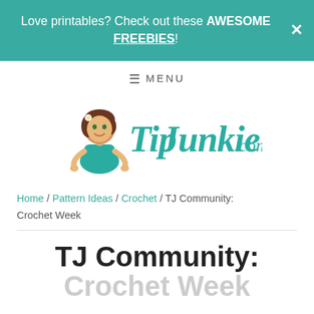Love printables? Check out these AWESOME FREEBIES!
≡ MENU
[Figure (logo): TipJunkie.com logo with cartoon woman character in teal dress with brown hair and flower accessory]
Home / Pattern Ideas / Crochet / TJ Community: Crochet Week
TJ Community: Crochet Week